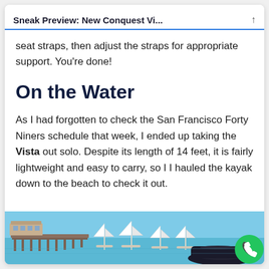Sneak Preview: New Conquest Vi...
seat straps, then adjust the straps for appropriate support. You're done!
On the Water
As I had forgotten to check the San Francisco Forty Niners schedule that week, I ended up taking the Vista out solo. Despite its length of 14 feet, it is fairly lightweight and easy to carry, so I I hauled the kayak down to the beach to check it out.
[Figure (photo): A waterfront scene with a pier on the left, several sailboats visible on the water, and a dark kayak or watercraft in the foreground right. The sky and water are blue-teal. A green phone button overlays the bottom right corner.]